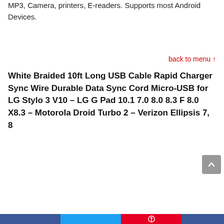MP3, Camera, printers, E-readers. Supports most Android Devices.
back to menu ↑
White Braided 10ft Long USB Cable Rapid Charger Sync Wire Durable Data Sync Cord Micro-USB for LG Stylo 3 V10 – LG G Pad 10.1 7.0 8.0 8.3 F 8.0 X8.3 – Motorola Droid Turbo 2 – Verizon Ellipsis 7, 8
[Figure (photo): Photo of a white braided USB cable coiled, with a green circular badge showing -12% discount]